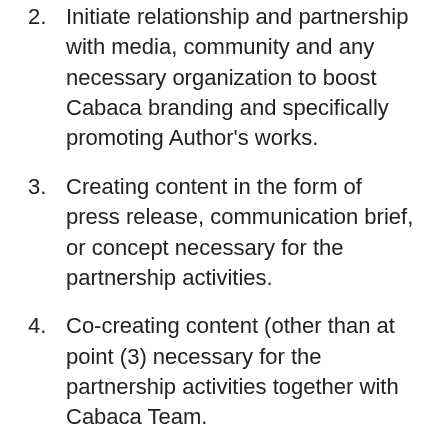2. Initiate relationship and partnership with media, community and any necessary organization to boost Cabaca branding and specifically promoting Author's works.
3. Creating content in the form of press release, communication brief, or concept necessary for the partnership activities.
4. Co-creating content (other than at point (3) necessary for the partnership activities together with Cabaca Team.
5. Monitor, evaluate and report partnership program execution.
6. Contribute innovation and initiatives as part of Cabaca team.